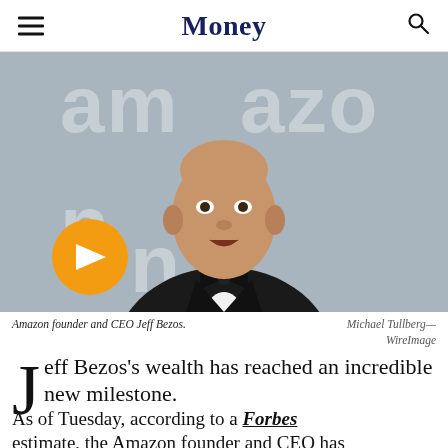Money
[Figure (photo): Amazon founder and CEO Jeff Bezos in a tuxedo with bow tie, standing in front of an Amazon branded backdrop with orange play button logo visible.]
Amazon founder and CEO Jeff Bezos.  Michael Tullberg—WireImage
Jeff Bezos's wealth has reached an incredible new milestone.
As of Tuesday, according to a Forbes estimate, the Amazon founder and CEO has a net worth of $143.1 billion, making him at